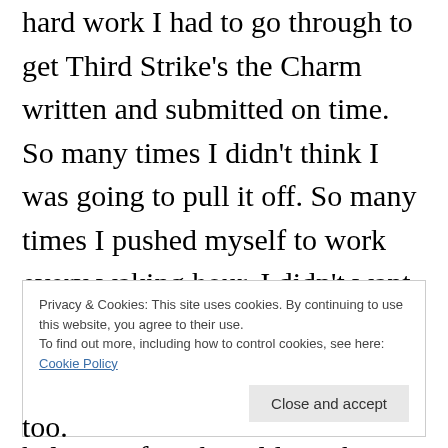hard work I had to go through to get Third Strike's the Charm written and submitted on time. So many times I didn't think I was going to pull it off. So many times I pushed myself to work every waking hour. I didn't want to let down my critique partners, especially one of them, who had put in a huge amount of work to help me after she told me the first draft didn't work as it was. (She was right.)
Privacy & Cookies: This site uses cookies. By continuing to use this website, you agree to their use. To find out more, including how to control cookies, see here: Cookie Policy
too.